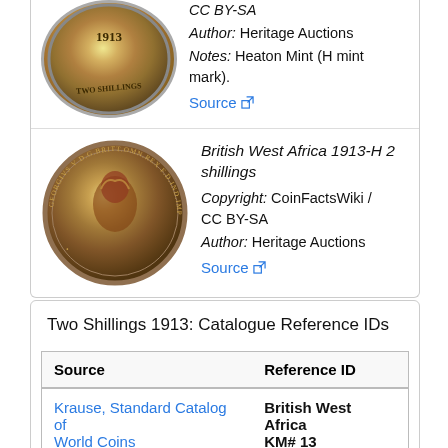[Figure (photo): Coin image - obverse of 1913 Two Shillings showing date and 'TWO SHILLINGS' text (partially visible, top cropped)]
CC BY-SA
Author: Heritage Auctions
Notes: Heaton Mint (H mint mark).
Source
[Figure (photo): Coin image - obverse of British West Africa 1913-H 2 shillings showing portrait of George V with inscription GEORGIVS V D.G.BRITT.OMN.REX F.D.IND.IMP.]
British West Africa 1913-H 2 shillings
Copyright: CoinFactsWiki / CC BY-SA
Author: Heritage Auctions
Source
Two Shillings 1913: Catalogue Reference IDs
| Source | Reference ID |
| --- | --- |
| Krause, Standard Catalog of World Coins | British West Africa KM# 13 |